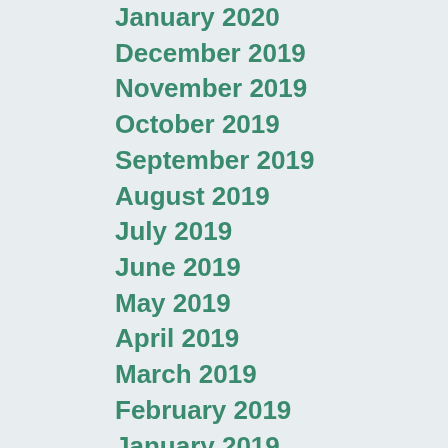January 2020
December 2019
November 2019
October 2019
September 2019
August 2019
July 2019
June 2019
May 2019
April 2019
March 2019
February 2019
January 2019
April 2018
December 2017
November 2017
April 2016
January 2016